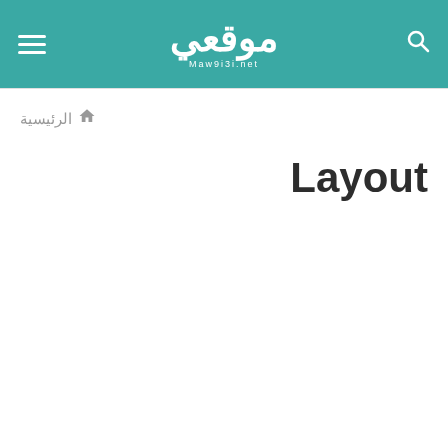[Figure (logo): Website header with teal/green background containing hamburger menu icon on left, Arabic logo 'موقعي' (Maw9i3i.net) in center, and search icon on right]
الرئيسية
Layout